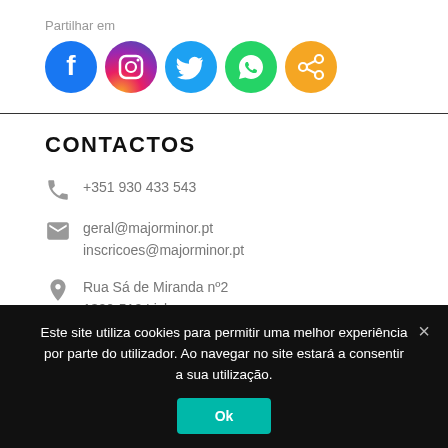Partilhar em
[Figure (illustration): Five social media share icons: Facebook (blue), Instagram (gradient pink/purple/orange), Twitter (light blue), WhatsApp (green), Generic share (orange)]
CONTACTOS
+351 930 433 543
geral@majorminor.pt
inscricoes@majorminor.pt
Rua Sá de Miranda nº2
1300-510 Lisboa
Este site utiliza cookies para permitir uma melhor experiência por parte do utilizador. Ao navegar no site estará a consentir a sua utilização.
Ok